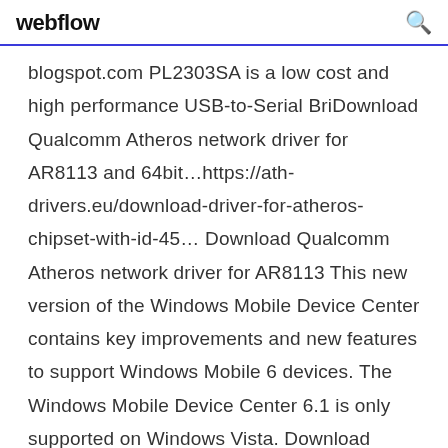webflow
blogspot.com PL2303SA is a low cost and high performance USB-to-Serial BriDownload Qualcomm Atheros network driver for AR8113 and 64bit…https://ath-drivers.eu/download-driver-for-atheros-chipset-with-id-45… Download Qualcomm Atheros network driver for AR8113 This new version of the Windows Mobile Device Center contains key improvements and new features to support Windows Mobile 6 devices. The Windows Mobile Device Center 6.1 is only supported on Windows Vista. Download locations for Realtek High Definition Audio Driver for Vista, Win7, Win8, Win8.1, Win10 64-bit R2.82, Downloads: